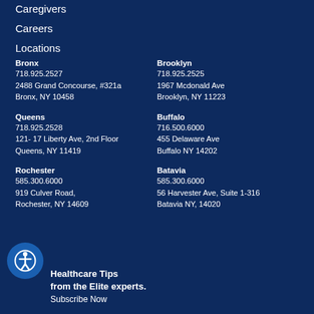Caregivers
Careers
Locations
Bronx
718.925.2527
2488 Grand Concourse, #321a
Bronx, NY 10458
Brooklyn
718.925.2525
1967 Mcdonald Ave
Brooklyn, NY 11223
Queens
718.925.2528
121- 17 Liberty Ave, 2nd Floor
Queens, NY 11419
Buffalo
716.500.6000
455 Delaware Ave
Buffalo NY 14202
Rochester
585.300.6000
919 Culver Road,
Rochester, NY 14609
Batavia
585.300.6000
56 Harvester Ave, Suite 1-316
Batavia NY, 14020
Healthcare Tips from the Elite experts.
Subscribe Now